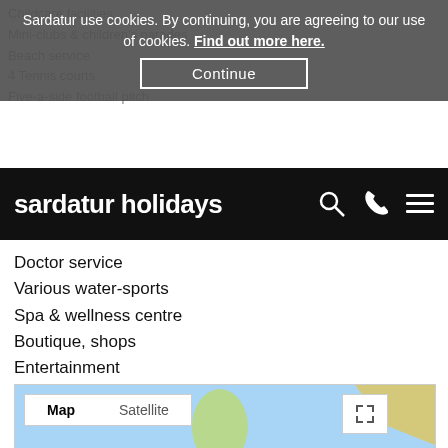Childcare facilities
Mini-clubs & children's parades
Beach service
4 Tennis courts
Five-a-side football pitch
Sardatur use cookies. By continuing, you are agreeing to our use of cookies. Find out more here. [Continue button]
sardatur holidays
Doctor service
Various water-sports
Spa & wellness centre
Boutique, shops
Entertainment
Free unattended car park
Shuttle bus service to Badesi (payable locally)
Wi-Fi in all receptions and at the bars
[Figure (map): Google Maps showing Corse (Corsica) and Sardinia with a red map pin marker on northern Sardinia, with Map/Satellite toggle and expand button. Labels: Corse, Sardegna.]
Chat with us online   Request a quote